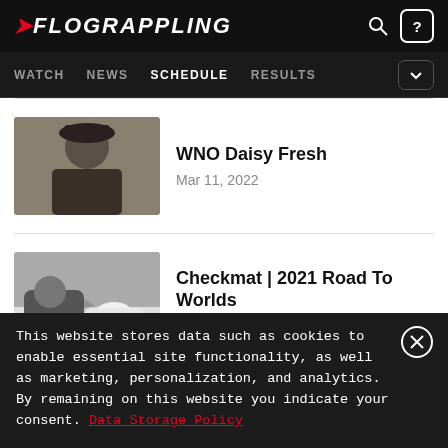FLOGRAPPLING
WATCH  NEWS  SCHEDULE  RESULTS
WNO Daisy Fresh
Mar 11, 2022
Checkmat | 2021 Road To Worlds
Dec 4, 2021
This website stores data such as cookies to enable essential site functionality, as well as marketing, personalization, and analytics. By remaining on this website you indicate your consent. Data Storage Policy